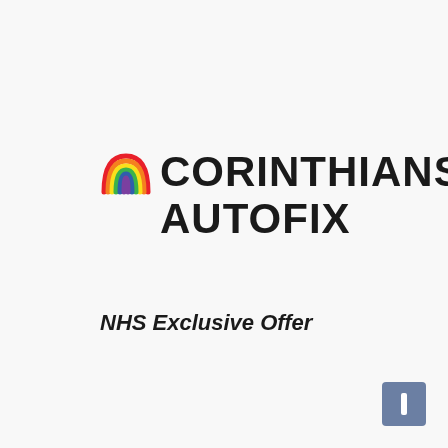[Figure (logo): Corinthians Autofix logo featuring a rainbow arc icon on the left and bold text 'CORINTHIANS AUTOFIX' in two lines to the right]
NHS Exclusive Offer